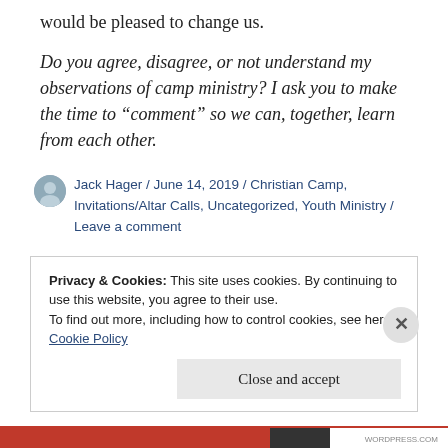would be pleased to change us.
Do you agree, disagree, or not understand my observations of camp ministry? I ask you to make the time to “comment” so we can, together, learn from each other.
Jack Hager / June 14, 2019 / Christian Camp, Invitations/Altar Calls, Uncategorized, Youth Ministry / Leave a comment
Privacy & Cookies: This site uses cookies. By continuing to use this website, you agree to their use.
To find out more, including how to control cookies, see here: Cookie Policy
Close and accept